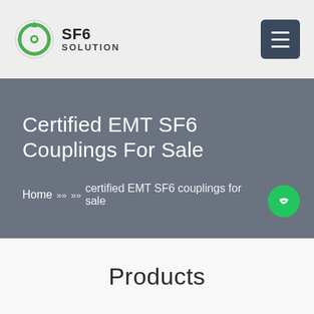SF6 SOLUTION
Certified EMT SF6 Couplings For Sale
Home » » certified EMT SF6 couplings for sale
Products